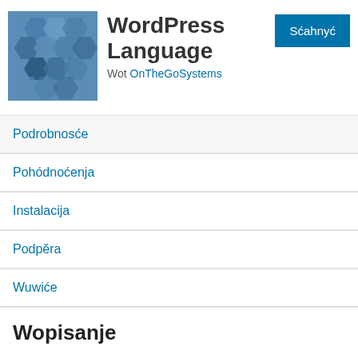[Figure (logo): WordPress plugin icon: blue hexagonal pattern tile]
WordPress Language
Wot OnTheGoSystems
Sćahnyć
Podrobnosće
Pohódnoćenja
Instalacija
Podpěra
Wuwiće
Wopisanje
End of development: as of version 1.2.1, we're not continuing the development on this plugin. This